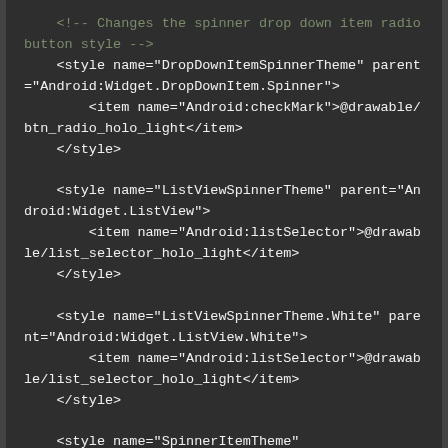[Figure (screenshot): Code editor screenshot showing XML style definitions for Android spinner themes including DropDownItemSpinnerTheme, ListViewSpinnerTheme, ListViewSpinnerTheme.White, and SpinnerItemTheme on a dark background.]